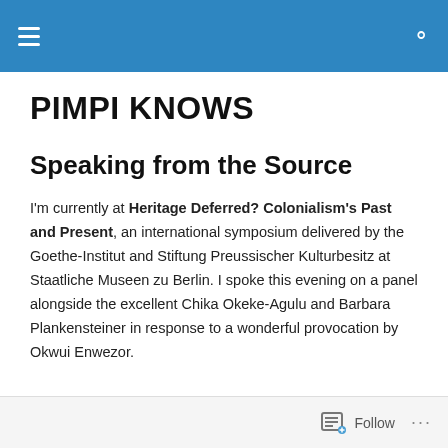PIMPI KNOWS [navigation bar with hamburger menu and search icon]
PIMPI KNOWS
Speaking from the Source
I'm currently at Heritage Deferred? Colonialism's Past and Present, an international symposium delivered by the Goethe-Institut and Stiftung Preussischer Kulturbesitz at Staatliche Museen zu Berlin. I spoke this evening on a panel alongside the excellent Chika Okeke-Agulu and Barbara Plankensteiner in response to a wonderful provocation by Okwui Enwezor.
Follow